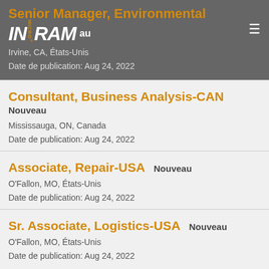Senior Manager, Environmental
[Figure (logo): Ingram Micro logo in white bold italic text with MICRO in orange vertical text]
Irvine, CA, États-Unis
Date de publication: Aug 24, 2022
Consultant, Business Analysis-CAN
Nouveau
Mississauga, ON, Canada
Date de publication: Aug 24, 2022
Associate, Repair-USA
Nouveau
O'Fallon, MO, États-Unis
Date de publication: Aug 24, 2022
Sr. Associate, Logistics-USA
Nouveau
O'Fallon, MO, États-Unis
Date de publication: Aug 24, 2022